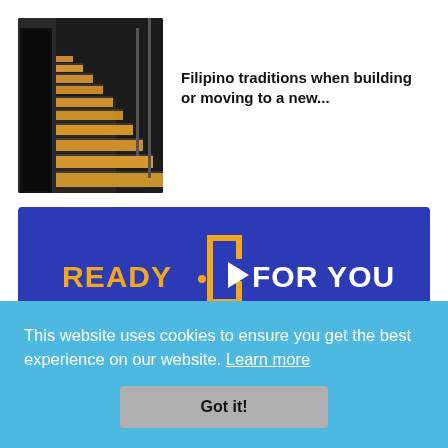[Figure (photo): Interior staircase with wooden steps and dark walls]
Filipino traditions when building or moving to a new...
[Figure (logo): READY FOR YOU logo on blue background with Chinese characters 光辉 below]
This website uses cookies to ensure you get the best experience on our website. Learn more
Got it!